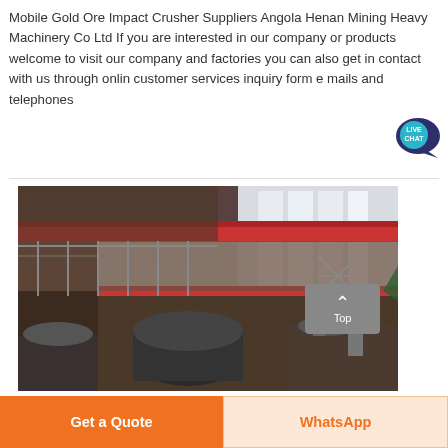Mobile Gold Ore Impact Crusher Suppliers Angola Henan Mining Heavy Machinery Co Ltd If you are interested in our company or products welcome to visit our company and factories you can also get in contact with us through online customer services inquiry form e mails and telephones
[Figure (photo): Interior of a large industrial factory or workshop showing heavy machinery, overhead red crane beams, multi-level steel platforms, and large industrial equipment including what appears to be a crusher or mill.]
Get a Quote
WhatsApp